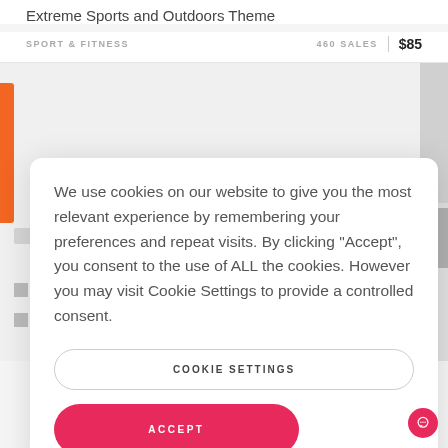Extreme Sports and Outdoors Theme
SPORT & FITNESS   460 SALES   $85
We use cookies on our website to give you the most relevant experience by remembering your preferences and repeat visits. By clicking "Accept", you consent to the use of ALL the cookies. However you may visit Cookie Settings to provide a controlled consent.
COOKIE SETTINGS
ACCEPT